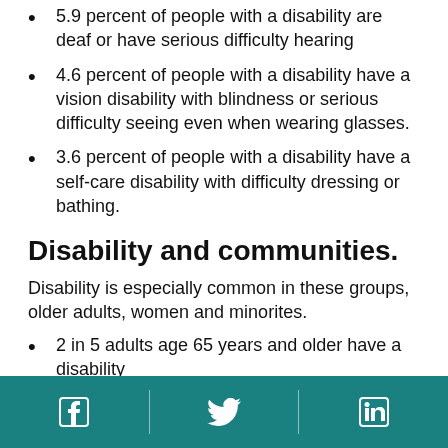5.9 percent of people with a disability are deaf or have serious difficulty hearing
4.6 percent of people with a disability have a vision disability with blindness or serious difficulty seeing even when wearing glasses.
3.6 percent of people with a disability have a self-care disability with difficulty dressing or bathing.
Disability and communities.
Disability is especially common in these groups, older adults, women and minorites.
2 in 5 adults age 65 years and older have a disability
Social media icons: Facebook, Twitter, LinkedIn